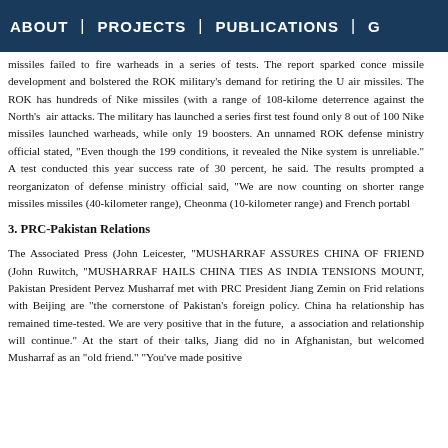ABOUT | PROJECTS | PUBLICATIONS | G
missiles failed to fire warheads in a series of tests. The report sparked conce missile development and bolstered the ROK military's demand for retiring the U air missiles. The ROK has hundreds of Nike missiles (with a range of 108-kilome deterrence against the North's air attacks. The military has launched a series first test found only 8 out of 100 Nike missiles launched warheads, while only 19 boosters. An unnamed ROK defense ministry official stated, "Even though the 199 conditions, it revealed the Nike system is unreliable." A test conducted this year success rate of 30 percent, he said. The results prompted a reorganizaton of defense ministry official said, "We are now counting on shorter range missiles missiles (40-kilometer range), Cheonma (10-kilometer range) and French portabl
3. PRC-Pakistan Relations
The Associated Press (John Leicester, "MUSHARRAF ASSURES CHINA OF FRIEND (John Ruwitch, "MUSHARRAF HAILS CHINA TIES AS INDIA TENSIONS MOUNT, Pakistan President Pervez Musharraf met with PRC President Jiang Zemin on Frid relations with Beijing are "the cornerstone of Pakistan's foreign policy. China ha relationship has remained time-tested. We are very positive that in the future, a association and relationship will continue." At the start of their talks, Jiang did no in Afghanistan, but welcomed Musharraf as an "old friend." "You've made positive